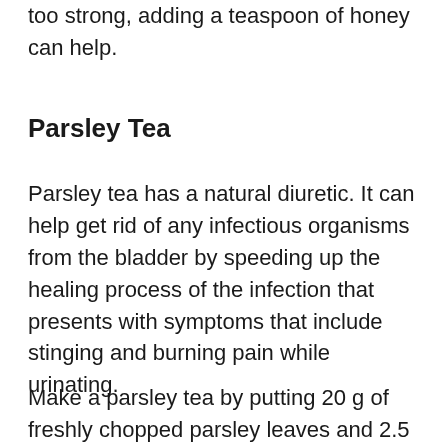too strong, adding a teaspoon of honey can help.
Parsley Tea
Parsley tea has a natural diuretic. It can help get rid of any infectious organisms from the bladder by speeding up the healing process of the infection that presents with symptoms that include stinging and burning pain while urinating.
Make a parsley tea by putting 20 g of freshly chopped parsley leaves and 2.5 liters of water in a pot, let simmer for 5 minutes. Put the ferment